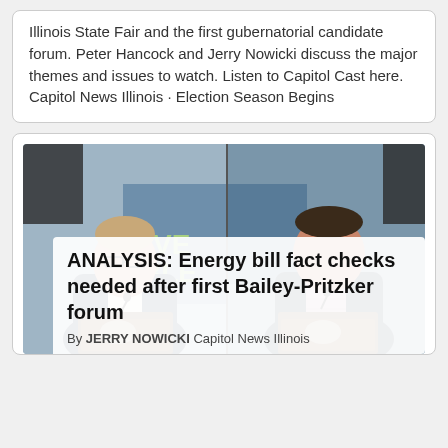Illinois State Fair and the first gubernatorial candidate forum. Peter Hancock and Jerry Nowicki discuss the major themes and issues to watch. Listen to Capitol Cast here. Capitol News Illinois · Election Season Begins
[Figure (photo): Two men in dark suits standing at separate podiums speaking at a debate or forum event, with a blue banner in the background showing partial text 'VE BLE'.]
ANALYSIS: Energy bill fact checks needed after first Bailey-Pritzker forum
By JERRY NOWICKI Capitol News Illinois